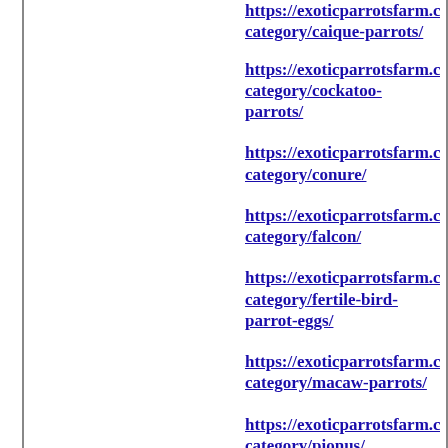https://exoticparrotsfarm.com/product-category/caique-parrots/
https://exoticparrotsfarm.com/product-category/cockatoo-parrots/
https://exoticparrotsfarm.com/product-category/conure/
https://exoticparrotsfarm.com/product-category/falcon/
https://exoticparrotsfarm.com/product-category/fertile-bird-parrot-eggs/
https://exoticparrotsfarm.com/product-category/macaw-parrots/
https://exoticparrotsfarm.com/product-category/pionus/
https://exoticparrotsfarm.com/product-category/rainbow-lorikeet/
https://exoticparrotsfarm.com/product-category/spixs-macaw/